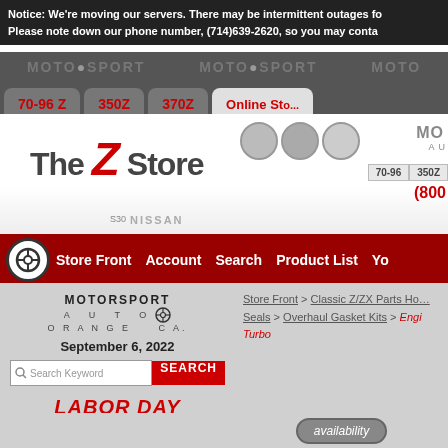Notice: We're moving our servers. There may be intermittent outages for our website. Please note down our phone number, (714)639-2620, so you may conta...
[Figure (screenshot): Motorsport Auto watermark row with repeated MOTORSPORT text on dark gray background]
[Figure (screenshot): Navigation tabs: 70-96 Z, 350Z, 370Z, Online Sto... with mini tabs 70-96, 350Z]
[Figure (logo): The Z Store banner logo with motorsport circles, S30, NISSAN text, MO AUTO info@m... (800... phone]
[Figure (screenshot): Red navigation bar with steering wheel icon, Store Front, Account, Search, Product List, Yo...]
[Figure (logo): MOTORSPORT AUTO ORANGE CA. logo in sidebar]
September 6, 2022
[Figure (screenshot): Search Keyword input box with red SEARCH button]
LABOR DAY WEEKEND 2022
Store Front > Classic Z/ZX Parts Home > Gaskets & Seals > Overhaul Gasket Kits > Engi... Turbo
[Figure (screenshot): availability oval button]